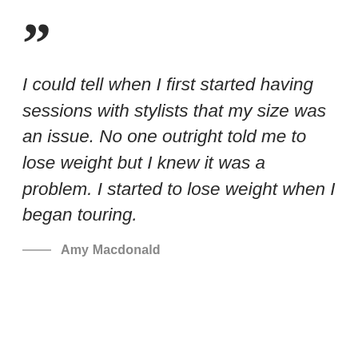““
I could tell when I first started having sessions with stylists that my size was an issue. No one outright told me to lose weight but I knew it was a problem. I started to lose weight when I began touring.
— Amy Macdonald